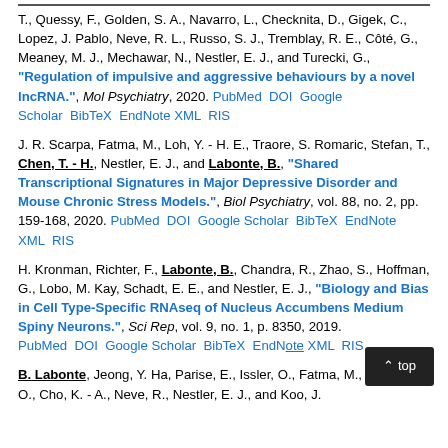T., Quessy, F., Golden, S. A., Navarro, L., Checknita, D., Gigek, C., Lopez, J. Pablo, Neve, R. L., Russo, S. J., Tremblay, R. E., Côté, G., Meaney, M. J., Mechawar, N., Nestler, E. J., and Turecki, G., "Regulation of impulsive and aggressive behaviours by a novel lncRNA.", Mol Psychiatry, 2020. PubMed DOI Google Scholar BibTeX EndNote XML RIS
J. R. Scarpa, Fatma, M., Loh, Y. - H. E., Traore, S. Romaric, Stefan, T., Chen, T. - H., Nestler, E. J., and Labonte, B., "Shared Transcriptional Signatures in Major Depressive Disorder and Mouse Chronic Stress Models.", Biol Psychiatry, vol. 88, no. 2, pp. 159-168, 2020. PubMed DOI Google Scholar BibTeX EndNote XML RIS
H. Kronman, Richter, F., Labonte, B., Chandra, R., Zhao, S., Hoffman, G., Lobo, M. Kay, Schadt, E. E., and Nestler, E. J., "Biology and Bias in Cell Type-Specific RNAseq of Nucleus Accumbens Medium Spiny Neurons.", Sci Rep, vol. 9, no. 1, p. 8350, 2019. PubMed DOI Google Scholar BibTeX EndNote XML RIS
B. Labonte, Jeong, Y. Ha, Parise, E., Issler, O., Fatma, M., Engmann, O., Cho, K. - A., Neve, R., Nestler, E. J., and Koo, J.